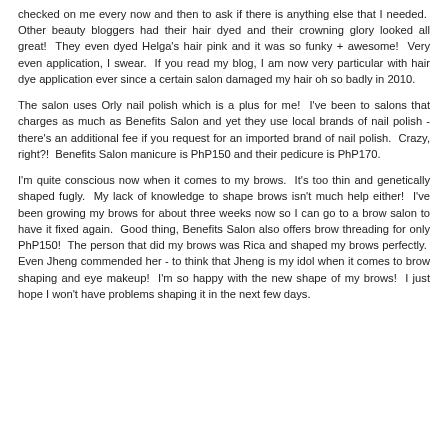checked on me every now and then to ask if there is anything else that I needed. Other beauty bloggers had their hair dyed and their crowning glory looked all great! They even dyed Helga's hair pink and it was so funky + awesome! Very even application, I swear. If you read my blog, I am now very particular with hair dye application ever since a certain salon damaged my hair oh so badly in 2010.
The salon uses Orly nail polish which is a plus for me! I've been to salons that charges as much as Benefits Salon and yet they use local brands of nail polish - there's an additional fee if you request for an imported brand of nail polish. Crazy, right?! Benefits Salon manicure is PhP150 and their pedicure is PhP170.
I'm quite conscious now when it comes to my brows. It's too thin and genetically shaped fugly. My lack of knowledge to shape brows isn't much help either! I've been growing my brows for about three weeks now so I can go to a brow salon to have it fixed again. Good thing, Benefits Salon also offers brow threading for only PhP150! The person that did my brows was Rica and shaped my brows perfectly. Even Jheng commended her - to think that Jheng is my idol when it comes to brow shaping and eye makeup! I'm so happy with the new shape of my brows! I just hope I won't have problems shaping it in the next few days.